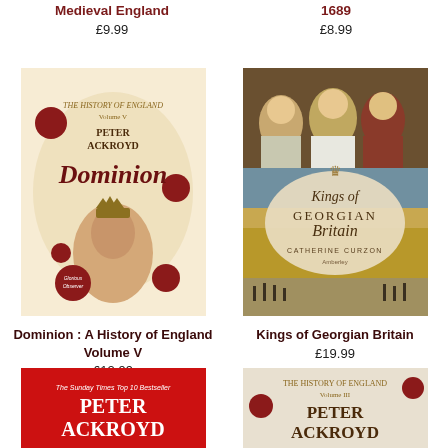Medieval England
£9.99
1689
£8.99
[Figure (photo): Book cover: Dominion: A History of England Volume V by Peter Ackroyd, featuring Queen Victoria portrait with ornate gold floral design]
Dominion : A History of England Volume V
£12.99
[Figure (photo): Book cover: Kings of Georgian Britain by Catherine Curzon, featuring portraits of Georgian-era kings in wigs and regalia against a landscape background]
Kings of Georgian Britain
£19.99
[Figure (photo): Partial book cover: red background with Peter Ackroyd text in white, The Sunday Times Top 10 Bestseller]
[Figure (photo): Partial book cover: The History of England Volume III by Peter Ackroyd, light background with red decorative elements]